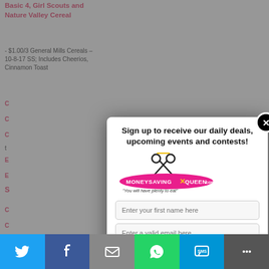Basic 4, Girl Scouts and Nature Valley Cereal
- $1.00/3 General Mills Cereals – 10-8-17 SS; Includes Cheerios, Cinnamon Toast
[Figure (screenshot): Modal popup with MoneySavingQueen.com logo, email signup form with 'Enter your first name here' and 'Enter a valid email here' fields, a green Subscribe button, and a close button. Title reads: 'Sign up to receive our daily deals, upcoming events and contests!']
[Figure (infographic): Social media share bar at bottom with Twitter (blue), Facebook (dark blue), Email (gray), WhatsApp (green), SMS (blue), and another share icon (dark gray) buttons]